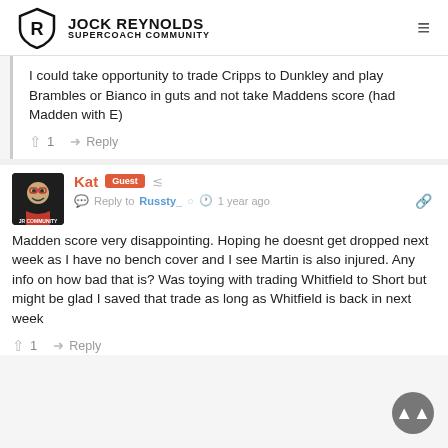JOCK REYNOLDS SUPERCOACH COMMUNITY
I could take opportunity to trade Cripps to Dunkley and play Brambles or Bianco in guts and not take Maddens score (had Madden with E)
↑ 1  ➤ Reply
[Figure (photo): User avatar for Kat - dark background with cartoon figure]
Kat  Guest  ⋖  Reply to Russty_  🕐 1 year ago  🔗
Madden score very disappointing. Hoping he doesnt get dropped next week as I have no bench cover and I see Martin is also injured. Any info on how bad that is? Was toying with trading Whitfield to Short but might be glad I saved that trade as long as Whitfield is back in next week
↑ 1  ➤ Reply